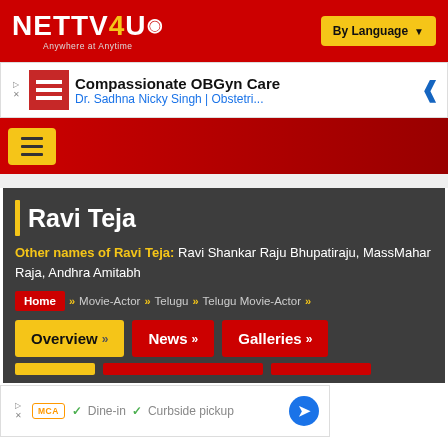NETTV4U — Anywhere at Anytime | By Language
[Figure (screenshot): Advertisement banner: Compassionate OBGyn Care, Dr. Sadhna Nicky Singh | Obstetri...]
[Figure (screenshot): Navigation bar with hamburger menu button on red background]
Ravi Teja
Other names of Ravi Teja: Ravi Shankar Raju Bhupatiraju, MassMahar Raja, Andhra Amitabh
Home » Movie-Actor » Telugu » Telugu Movie-Actor »
Overview » | News » | Galleries »
[Figure (screenshot): Advertisement banner: Dine-in, Curbside pickup with MCA badge]